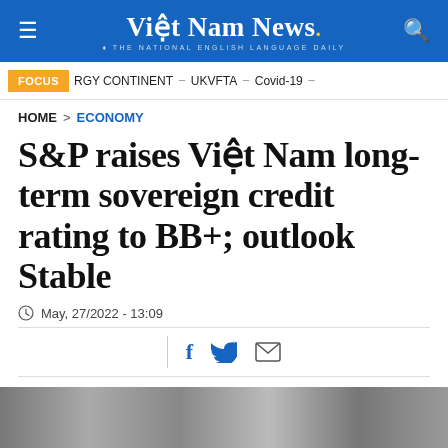Việt Nam News — THE NATIONAL ENGLISH LANGUAGE DAILY
FOCUS  RGY CONTINENT – UKVFTA – Covid-19 –
HOME > ECONOMY
S&P raises Việt Nam long-term sovereign credit rating to BB+; outlook Stable
May, 27/2022 - 13:09
[Figure (photo): Partially visible news article image at the bottom of the page]